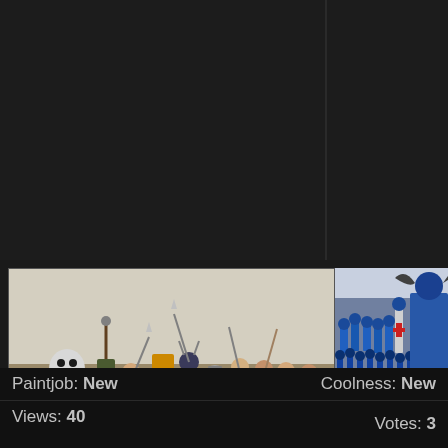[Figure (photo): Warhammer RPG painted miniatures group shot — approximately 12 fantasy hero miniatures on bases including a large bear, knights, wizards, and warriors, photographed against a pale background on a textured surface]
[Figure (photo): Partial right-side photo showing blue-armored Warhammer miniatures army including cavalry and infantry with a crusader cross motif]
Warhammer RPG Heroes To Date by KidCthulhu
Paintjob: New   Coolness: New
Views: 40   Votes: 3